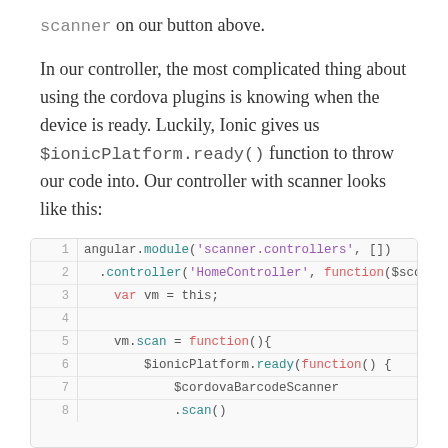scanner on our button above.
In our controller, the most complicated thing about using the cordova plugins is knowing when the device is ready. Luckily, Ionic gives us $ionicPlatform.ready() function to throw our code into. Our controller with scanner looks like this:
[Figure (screenshot): Code block showing JavaScript/Angular controller code with line numbers 1-8. Line 1: angular.module('scanner.controllers', []) Line 2: .controller('HomeController', function($sco Line 3: var vm = this; Line 4: (empty) Line 5: vm.scan = function(){ Line 6: $ionicPlatform.ready(function() { Line 7: $cordovaBarcodeScanner Line 8: .scan()]